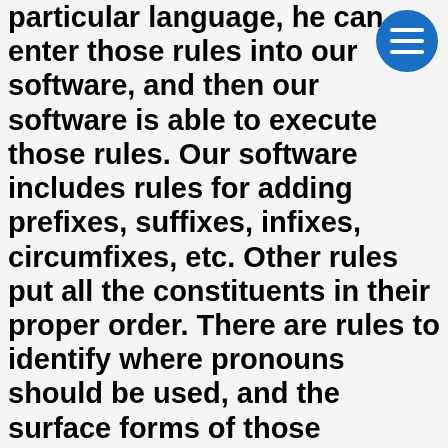particular language, he can enter those rules into our software, and then our software is able to execute those rules. Our software includes rules for adding prefixes, suffixes, infixes, circumfixes, etc. Other rules put all the constituents in their proper order. There are rules to identify where pronouns should be used, and the surface forms of those pronouns. There are also collocation correction rules which change one target word to another target word in specific environments. There are rules for handling the various relativization strategies for relative clauses. So there are numerous types of rules in our grammar. Then our software applies that information to our semantic representations of the Bible, and produces initial draft translations that are easily understandable, grammatically perfect, and convey